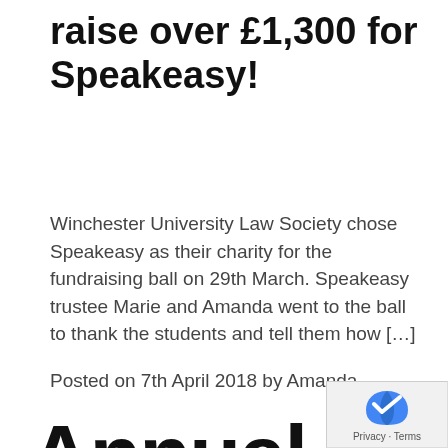raise over £1,300 for Speakeasy!
Winchester University Law Society chose Speakeasy as their charity for the fundraising ball on 29th March. Speakeasy trustee Marie and Amanda went to the ball to thank the students and tell them how […]
Posted on 7th April 2018 by Amanda
[Figure (illustration): Large bold stylized text reading 'Annual Report' in black with a blue curved underline beneath 'Annual'. The text is partially cut off on the right side.]
[Figure (logo): Google reCAPTCHA badge in bottom right corner with privacy and terms links.]